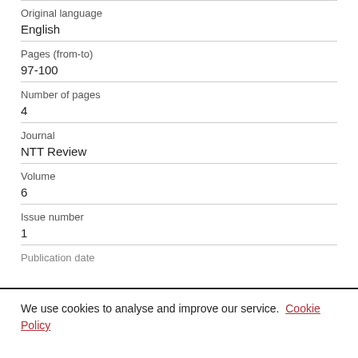Original language
English
Pages (from-to)
97-100
Number of pages
4
Journal
NTT Review
Volume
6
Issue number
1
Publication date
We use cookies to analyse and improve our service. Cookie Policy